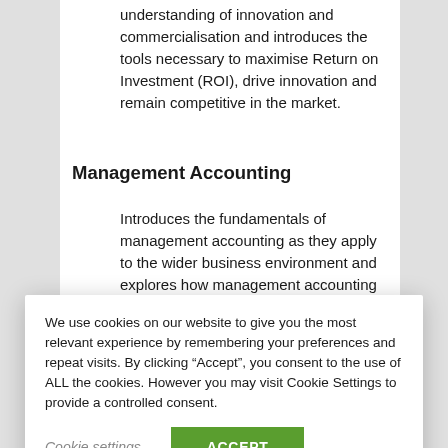understanding of innovation and commercialisation and introduces the tools necessary to maximise Return on Investment (ROI), drive innovation and remain competitive in the market.
Management Accounting
Introduces the fundamentals of management accounting as they apply to the wider business environment and explores how management accounting uses financial data to aid planning decisions and the monitoring and
We use cookies on our website to give you the most relevant experience by remembering your preferences and repeat visits. By clicking "Accept", you consent to the use of ALL the cookies. However you may visit Cookie Settings to provide a controlled consent.
Cookie settings
ACCEPT
stakeholders.